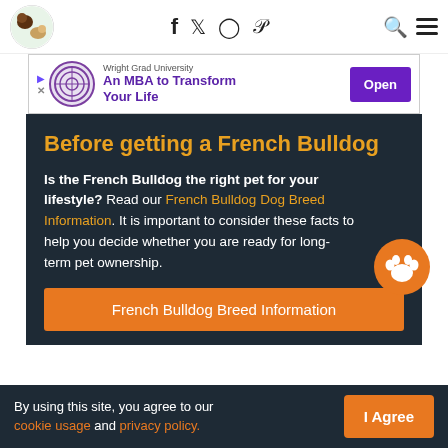Site header with logo, social icons (Facebook, Twitter, Instagram, Pinterest), search, and menu
[Figure (other): Advertisement banner: Wright Grad University - An MBA to Transform Your Life, with Open button]
Before getting a French Bulldog
Is the French Bulldog the right pet for your lifestyle? Read our French Bulldog Dog Breed Information. It is important to consider these facts to help you decide whether you are ready for long-term pet ownership.
French Bulldog Breed Information
By using this site, you agree to our cookie usage and privacy policy.